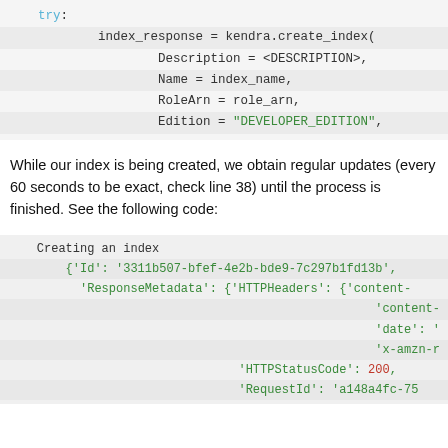[Figure (screenshot): Code block showing Python try block with kendra.create_index() call including Description, Name, RoleArn, and Edition parameters]
While our index is being created, we obtain regular updates (every 60 seconds to be exact, check line 38) until the process is finished. See the following code:
[Figure (screenshot): Code output block showing 'Creating an index' followed by a JSON-like response with Id, ResponseMetadata, HTTPHeaders, HTTPStatusCode: 200, and RequestId fields]